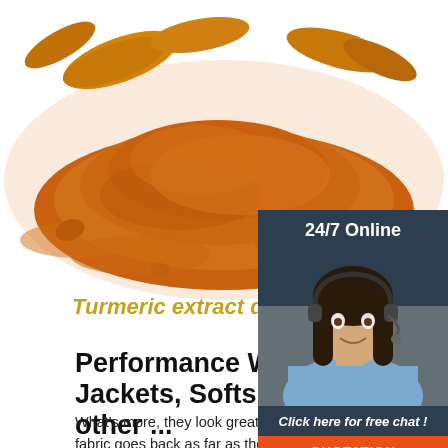[Figure (photo): Turmeric root and orange powder pile on white background]
[Figure (infographic): 24/7 Online chat widget with woman wearing headset, 'Click here for free chat!' text, and orange QUOTATION button]
Turmeric extract drying p
Performance Waterproof Jackets, Softshells and other ...
What's more, they look great! The long pedigree of the fabric goes back as far as the late 1930's. With war looming, the British government thought that there would be a shortage of flax that was used in those days for fire hoses and water
[Figure (logo): TOP badge with orange dotted arch above text]